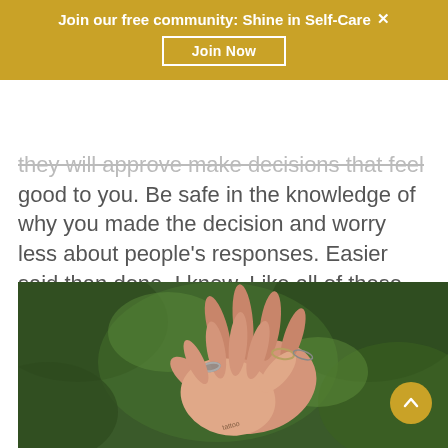Join our free community: Shine in Self-Care ×
Join Now
they will approve make decisions that feel good to you. Be safe in the knowledge of why you made the decision and worry less about people's responses. Easier said than done, I know. Like all of these things, it takes practice.
[Figure (photo): Close-up photo of two hands raised outdoors with blurred green background. One hand has a ring and the other has a tattoo on the wrist.]